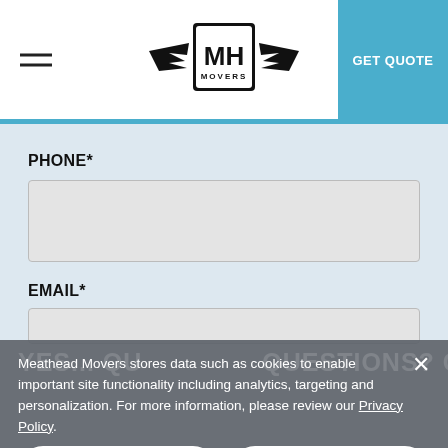[Figure (logo): MH Movers logo with wings and shield emblem]
GET QUOTE
PHONE*
EMAIL*
Meathead Movers stores data such as cookies to enable important site functionality including analytics, targeting and personalization. For more information, please review our Privacy Policy.
ACCEPT
CLOSE